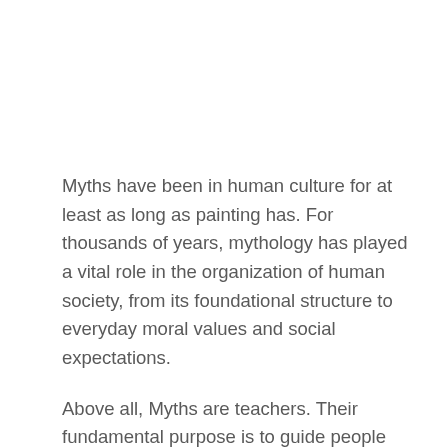Myths have been in human culture for at least as long as painting has. For thousands of years, mythology has played a vital role in the organization of human society, from its foundational structure to everyday moral values and social expectations.
Above all, Myths are teachers. Their fundamental purpose is to guide people who find themselves in certain challenging situations that arise throughout life. According to mythology, these situations are timeless and occur in everyone's life at one point or another.
Myths act as an example of how to overcome these